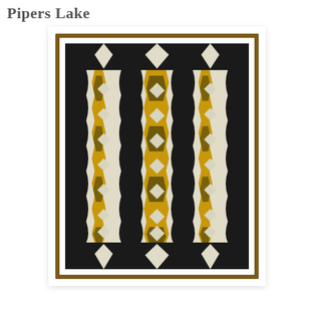Pipers Lake
[Figure (illustration): A decorative quilt or textile pattern with geometric zigzag and hourglass motifs in black, cream/ivory, dark olive/brown, and golden yellow. The design features vertical columns with interlocking wavy/chevron shapes, diamond forms, and bold horizontal black bars at top and bottom. The image is presented with a warm brown border frame and white mat.]